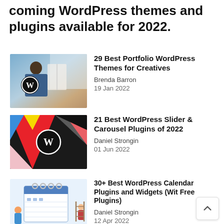coming WordPress themes and plugins available for 2022.
[Figure (photo): Person painting at an easel with WordPress logo overlay]
29 Best Portfolio WordPress Themes for Creatives
Brenda Barron
19 Jan 2022
[Figure (photo): Colorful geometric shapes with WordPress logo]
21 Best WordPress Slider & Carousel Plugins of 2022
Daniel Strongin
01 Jun 2022
[Figure (photo): Calendar illustration with people]
30+ Best WordPress Calendar Plugins and Widgets (Wit Free Plugins)
Daniel Strongin
12 Apr 2022